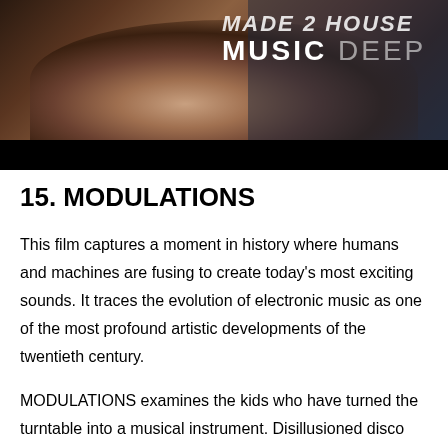[Figure (photo): Banner image showing a close-up of a person's face (mouth and chin area) with text overlay reading 'MUSIC DEEP' on a dark background. Black bar below.]
15. MODULATIONS
This film captures a moment in history where humans and machines are fusing to create today's most exciting sounds. It traces the evolution of electronic music as one of the most profound artistic developments of the twentieth century.
MODULATIONS examines the kids who have turned the turntable into a musical instrument. Disillusioned disco lovers who created acid house out of primitive